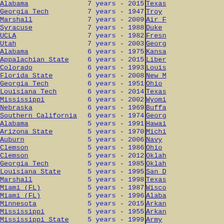| School | Duration | Right School |
| --- | --- | --- |
| Alabama | 7 years - 2015 .. 2021 | Texas |
| Georgia Tech | 7 years - 1947 .. 1956 | Troy |
| Marshall | 7 years - 2009 .. 2018 | Air F |
| Syracuse | 7 years - 1988 .. 1996 | Duke |
| UCLA | 7 years - 1982 .. 1988 | Fresn |
| Utah | 7 years - 2003 .. 2009 | Georg |
| Alabama | 6 years - 1975 .. 1980 | Kansa |
| Appalachian State | 6 years - 2015 .. 2020 | Liber |
| Colorado | 6 years - 1993 .. 1999 | Louis |
| Florida State | 6 years - 2008 .. 2013 | New M |
| Georgia Tech | 6 years - 1951 .. 1956 | Ohio |
| Louisiana Tech | 6 years - 2014 .. 2019 | Texas |
| Mississippi | 6 years - 2002 .. 2013 | Wyomi |
| Nebraska | 6 years - 1969 .. 1974 | Buffa |
| Southern California | 6 years - 1974 .. 1979 | Georg |
| Alabama | 5 years - 1991 .. 1996 | Hawai |
| Arizona State | 5 years - 1970 .. 1975 | Michi |
| Auburn | 5 years - 2006 .. 2011 | Navy |
| Clemson | 5 years - 1986 .. 1990 | Ohio |
| Clemson | 5 years - 2012 .. 2016 | Oklah |
| Georgia Tech | 5 years - 1985 .. 1998 | Oklah |
| Louisiana State | 5 years - 1995 .. 2001 | San D |
| Marshall | 5 years - 1998 .. 2002 | Texas |
| Miami (FL) | 5 years - 1987 .. 1991 | Wisco |
| Miami (FL) | 5 years - 1996 .. 2001 | Alaba |
| Minnesota | 5 years - 2015 .. 2021 | Arkan |
| Mississippi | 5 years - 1955 .. 1960 | Arkan |
| Mississippi State | 5 years - 1999 .. 2011 | Army |
| North Carolina | 5 years - 1995 .. 2001 | Baylo |
| Notre Dame | 5 years - 1973 .. 1978 | Calif |
| Oregon State | 5 years - 2002 .. 2008 | Cent |